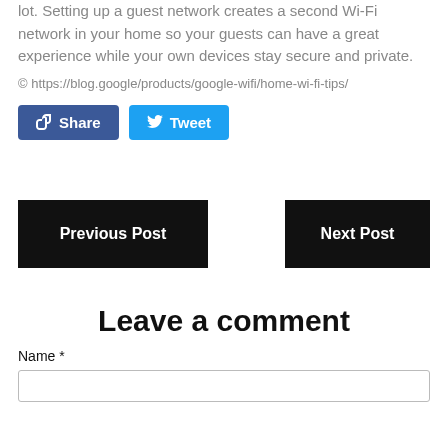lot. Setting up a guest network creates a second Wi-Fi network in your home so your guests can have a great experience while your own devices stay secure and private.
© https://blog.google/products/google-wifi/home-wi-fi-tips/
Share  Tweet
Previous Post  Next Post
Leave a comment
Name *